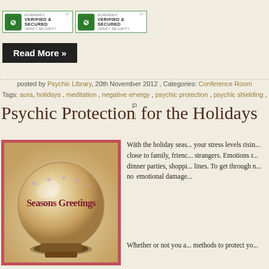[Figure (logo): Two GoDaddy Verified & Secured badges side by side]
Read More »
posted by Psychic Library, 20th November 2012 , Categories: Conference Room
Tags: aura, holidays, meditation, negative energy, psychic protection, psychic shielding, p
Psychic Protection for the Holidays
[Figure (photo): Crystal ball with 'Seasons Greetings' text and snowflakes inside]
With the holiday seas... your stress levels risin... close to family, frienc... strangers. Emotions r... dinner parties, shoppi... lines. To get through r... no emotional damage...
Whether or not you a... methods to protect yo...